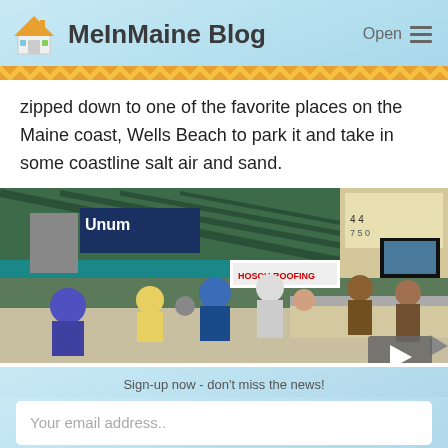MeInMaine Blog | Open
zipped down to one of the favorite places on the Maine coast, Wells Beach to park it and take in some coastline salt air and sand.
[Figure (photo): Interior of a baseball stadium concourse area with crowd of people at concession stands. Green roof structure visible with advertising banners including Unum and Hosch Roofing. Scoreboard and TVs visible.]
Sign-up now - don't miss the news!
Your email address..
SUBSCRIBE